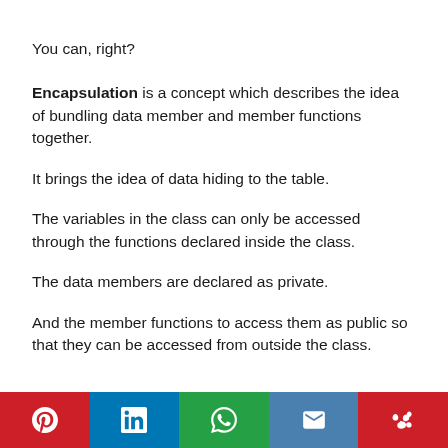You can, right?
Encapsulation is a concept which describes the idea of bundling data member and member functions together.
It brings the idea of data hiding to the table.
The variables in the class can only be accessed through the functions declared inside the class.
The data members are declared as private.
And the member functions to access them as public so that they can be accessed from outside the class.